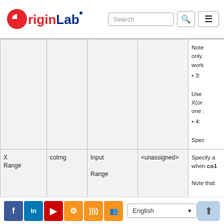OriginLab | Search
|  |  |  |  | Note only work
• 3:
Use X(or one :
• 4:
Spec |
| X Range | colrng | Input Range | <unassigned> | Specify a when col
Note that |
| Format |  | Input |  | Specify th |
Facebook LinkedIn YouTube Settings RSS Group | English | Up